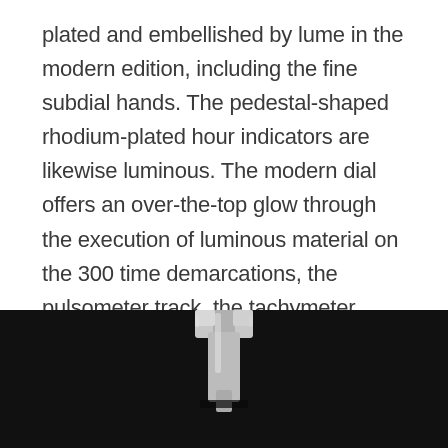plated and embellished by lume in the modern edition, including the fine subdial hands. The pedestal-shaped rhodium-plated hour indicators are likewise luminous. The modern dial offers an over-the-top glow through the execution of luminous material on the 300 time demarcations, the pulsometer track, the tachymeter track, and the Arabic numerals on the subdials. A domed sapphire crystal with double coating of anti-reflective material covers the dial.
[Figure (photo): Black background photograph showing a close-up of a watch clasp or bracelet component, metallic and silver-toned, partially visible at the bottom of the page.]